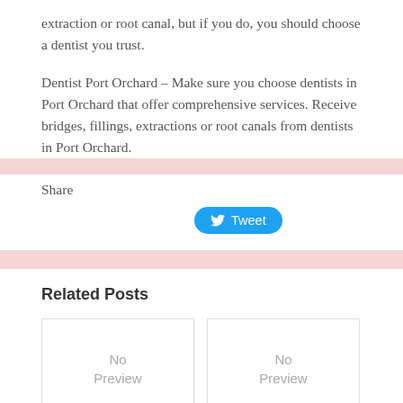extraction or root canal, but if you do, you should choose a dentist you trust.
Dentist Port Orchard – Make sure you choose dentists in Port Orchard that offer comprehensive services. Receive bridges, fillings, extractions or root canals from dentists in Port Orchard.
Share
[Figure (other): Blue Twitter Tweet button with bird icon]
Related Posts
[Figure (other): No Preview placeholder box]
[Figure (other): No Preview placeholder box]